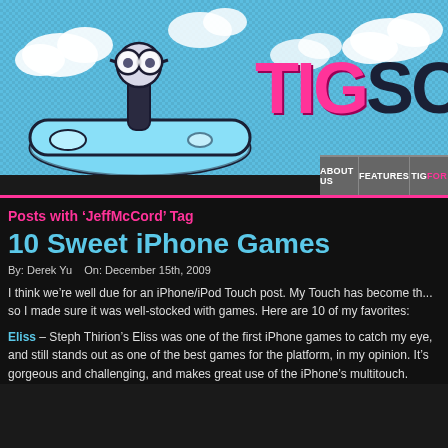[Figure (screenshot): TIGSource website header banner with a joystick mascot illustration (cartoon joystick with glasses) on a light blue sky background with clouds, and the TIGSource logo in pink and dark letters]
ABOUT US | FEATURES | TIGFOR...
Posts with 'JeffMcCord' Tag
10 Sweet iPhone Games
By: Derek Yu   On: December 15th, 2009
I think we're well due for an iPhone/iPod Touch post. My Touch has become th... so I made sure it was well-stocked with games. Here are 10 of my favorites:
Eliss – Steph Thirion's Eliss was one of the first iPhone games to catch my eye, and still stands out as one of the best games for the platform, in my opinion. It's gorgeous and challenging, and makes great use of the iPhone's multitouch.